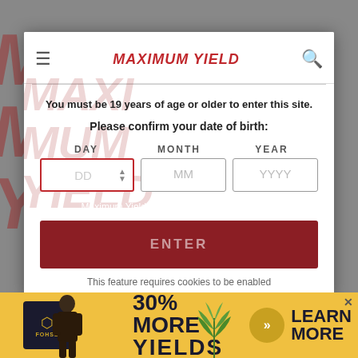[Figure (logo): Maximum Yield magazine logo and navigation header with hamburger menu, red italic logo text MAXIMUM YIELD, and search icon]
You must be 19 years of age or older to enter this site.
Please confirm your date of birth:
DAY   MONTH   YEAR
DD input field, MM input field, YYYY input field
Maximum Yield is a part of Janalta Interactive.
ENTER
This feature requires cookies to be enabled
[Figure (infographic): Advertisement banner: Fohse logo, 30% MORE YIELDS text, play button, LEARN MORE text, cannabis plant image]